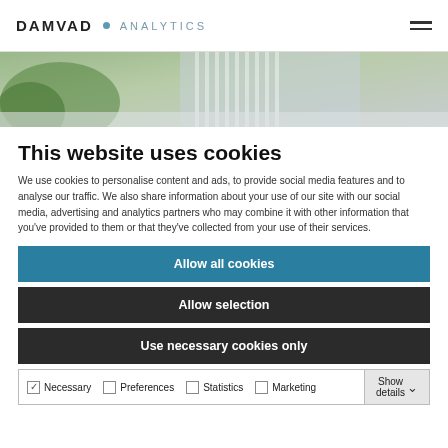DAMVAD · ANALYTICS
[Figure (photo): Partial photo of a person in a grey/white striped shirt with greenery in background]
This website uses cookies
We use cookies to personalise content and ads, to provide social media features and to analyse our traffic. We also share information about your use of our site with our social media, advertising and analytics partners who may combine it with other information that you've provided to them or that they've collected from your use of their services.
Allow all cookies
Allow selection
Use necessary cookies only
Necessary  Preferences  Statistics  Marketing  Show details